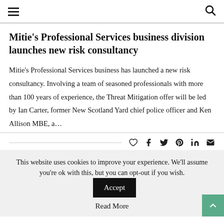≡  🔍
Mitie's Professional Services business division launches new risk consultancy
Mitie's Professional Services business has launched a new risk consultancy. Involving a team of seasoned professionals with more than 100 years of experience, the Threat Mitigation offer will be led by Ian Carter, former New Scotland Yard chief police officer and Ken Allison MBE, a…
[Figure (infographic): Social share icons: heart, facebook, twitter, pinterest, linkedin, email]
This website uses cookies to improve your experience. We'll assume you're ok with this, but you can opt-out if you wish. [Accept button] Read More